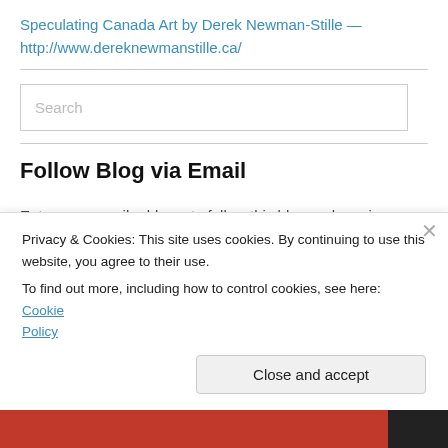Speculating Canada Art by Derek Newman-Stille — http://www.dereknewmanstille.ca/
Search
Follow Blog via Email
Enter your email address to follow this blog and receive notifications of new posts by email.
Privacy & Cookies: This site uses cookies. By continuing to use this website, you agree to their use. To find out more, including how to control cookies, see here: Cookie Policy
Close and accept